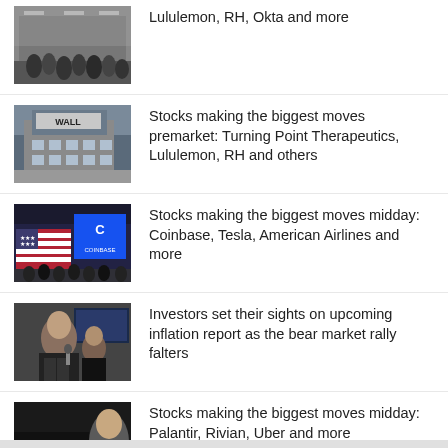[Figure (photo): Crowd of people inside a shopping store/mall]
Lululemon, RH, Okta and more
[Figure (photo): Wall Street sign on building exterior]
Stocks making the biggest moves premarket: Turning Point Therapeutics, Lululemon, RH and others
[Figure (photo): Coinbase logo on building with American flag]
Stocks making the biggest moves midday: Coinbase, Tesla, American Airlines and more
[Figure (photo): Man speaking on trading floor]
Investors set their sights on upcoming inflation report as the bear market rally falters
[Figure (photo): Palantir sign with man in suit]
Stocks making the biggest moves midday: Palantir, Rivian, Uber and more